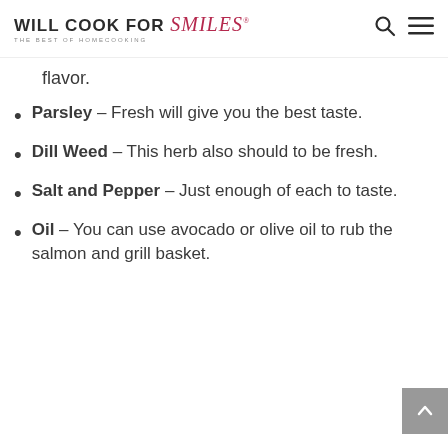WILL COOK FOR Smiles® THE BEST OF HOMECOOKING
flavor.
Parsley – Fresh will give you the best taste.
Dill Weed – This herb also should to be fresh.
Salt and Pepper – Just enough of each to taste.
Oil – You can use avocado or olive oil to rub the salmon and grill basket.